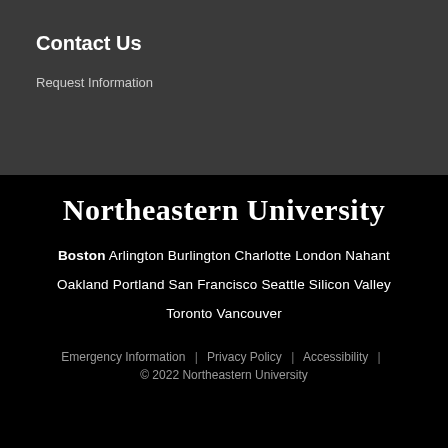Contact Us
Request Information
Northeastern University
Boston  Arlington  Burlington  Charlotte  London  Nahant  Oakland  Portland  San Francisco  Seattle  Silicon Valley  Toronto  Vancouver
Emergency Information  |  Privacy Policy  |  Accessibility  |  © 2022 Northeastern University